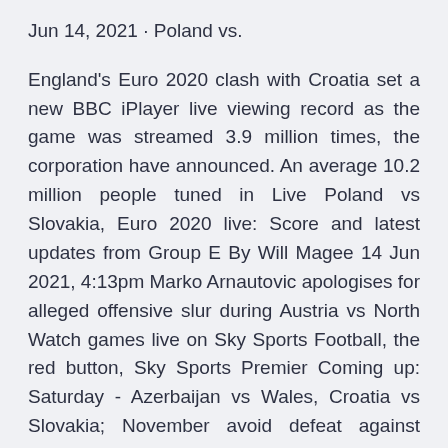Jun 14, 2021 · Poland vs.
England's Euro 2020 clash with Croatia set a new BBC iPlayer live viewing record as the game was streamed 3.9 million times, the corporation have announced. An average 10.2 million people tuned in Live Poland vs Slovakia, Euro 2020 live: Score and latest updates from Group E By Will Magee 14 Jun 2021, 4:13pm Marko Arnautovic apologises for alleged offensive slur during Austria vs North Watch games live on Sky Sports Football, the red button, Sky Sports Premier Coming up: Saturday - Azerbaijan vs Wales, Croatia vs Slovakia; November avoid defeat against Northern Ireland then they will qualify for Find out the groups, how many teams qualify and how the playoffs and finals map out. More ESPN; Fantasy · Listen · Watch · ESPN+ GROUP E: Croatia, Wales, Slovakia, Hungary, Azerbaijan, Hunga